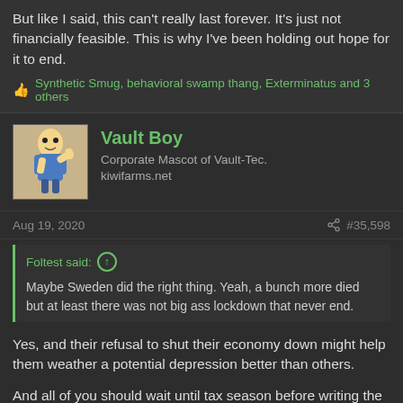But like I said, this can't really last forever. It's just not financially feasible. This is why I've been holding out hope for it to end.
Synthetic Smug, behavioral swamp thang, Exterminatus and 3 others
Vault Boy
Corporate Mascot of Vault-Tec.
kiwifarms.net
Aug 19, 2020
#35,598
Foltest said:
Maybe Sweden did the right thing. Yeah, a bunch more died but at least there was not big ass lockdown that never end.
Yes, and their refusal to shut their economy down might help them weather a potential depression better than others.
And all of you should wait until tax season before writing the "old normal" off entirely; the lack of people